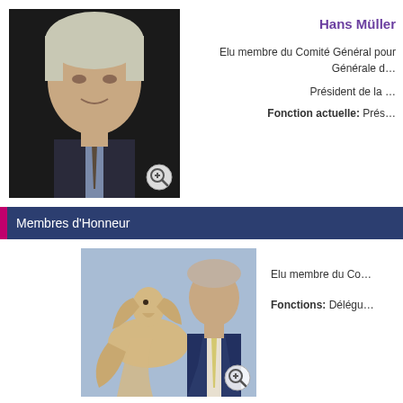[Figure (photo): Portrait photo of Hans Müller, older man in suit with tie, dark background]
Hans Müller
Elu membre du Comité Général pour la Assemblée Générale d…
Président de la …
Fonction actuelle: Prés…
Membres d'Honneur
[Figure (photo): Photo of man in suit next to Afghan Hound dog at a show]
Elu membre du Co…
Fonctions: Délégu…